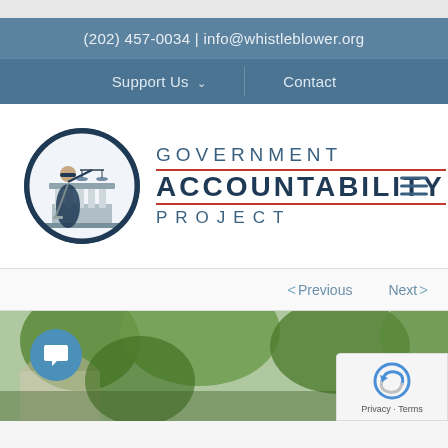(202) 457-0034 | info@whistleblower.org
Support Us ∨   Contact
[Figure (logo): Government Accountability Project logo: Lady Justice in circular emblem with scales, beside stacked text reading GOVERNMENT ACCOUNTABILITY PROJECT]
< Previous   Next >
[Figure (photo): Partial outdoor photo with trees and building, chat bubble icon overlaid, reCAPTCHA badge in bottom right]